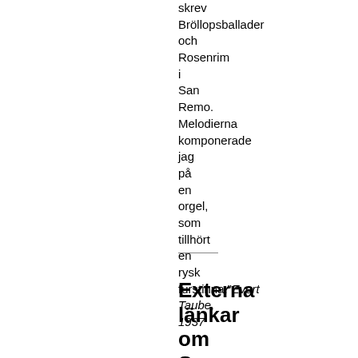skrev Bröllopsballader och Rosenrim i San Remo. Melodierna komponerade jag på en orgel, som tillhört en rysk furstinna."Evert Taube, 1937
Externa länkar om San